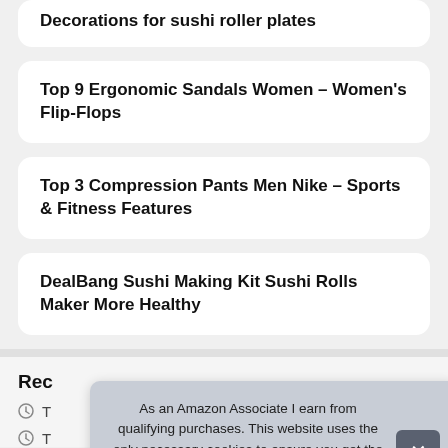Decorations for sushi roller plates
Top 9 Ergonomic Sandals Women – Women's Flip-Flops
Top 3 Compression Pants Men Nike – Sports & Fitness Features
DealBang Sushi Making Kit Sushi Rolls Maker More Healthy
Rec
As an Amazon Associate I earn from qualifying purchases. This website uses the only necessary cookies to ensure you get the best experience on our website. More information